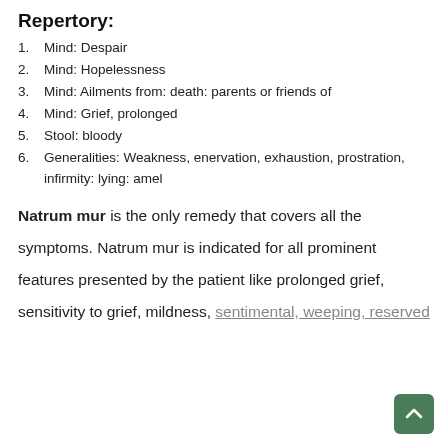Repertory:
Mind: Despair
Mind: Hopelessness
Mind: Ailments from: death: parents or friends of
Mind: Grief, prolonged
Stool: bloody
Generalities: Weakness, enervation, exhaustion, prostration, infirmity: lying: amel
Natrum mur is the only remedy that covers all the symptoms.  Natrum mur is indicated for all prominent features presented by the patient like prolonged grief, sensitivity to grief, mildness, sentimental, weeping, reserved